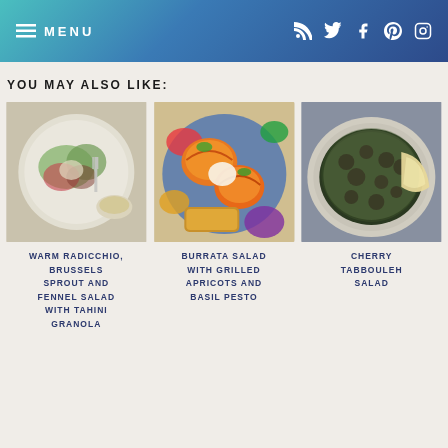MENU
YOU MAY ALSO LIKE:
[Figure (photo): Bowl of warm radicchio, brussels sprout and fennel salad with tahini granola on a white plate, photographed from above]
WARM RADICCHIO, BRUSSELS SPROUT AND FENNEL SALAD WITH TAHINI GRANOLA
[Figure (photo): Burrata salad with grilled apricots and basil pesto on a colorful floral plate]
BURRATA SALAD WITH GRILLED APRICOTS AND BASIL PESTO
[Figure (photo): Cherry tabbouleh salad with herbs and pita in a ceramic bowl]
CHERRY TABBOULEH SALAD